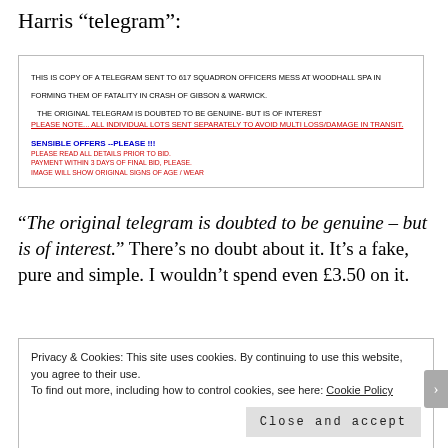Harris “telegram”:
[Figure (screenshot): Screenshot of an online auction listing description. Black uppercase text describes a copy of a telegram sent to 617 Squadron Officers Mess at Woodhall Spa informing them of fatality in crash of Gibson & Warwick, noting the original telegram is doubted to be genuine but is of interest. Red underlined text: PLEASE NOTE... ALL INDIVIDUAL LOTS SENT SEPARATELY TO AVOID MULTI LOSS/DAMAGE IN TRANSIT. Blue bold text: SENSIBLE OFFERS --PLEASE !!! Red small text: PLEASE READ ALL DETAILS PRIOR TO BID. PAYMENT WITHIN 3 DAYS OF FINAL BID, PLEASE. IMAGE WILL SHOW ORIGINAL SIGNS OF AGE / WEAR]
“The original telegram is doubted to be genuine – but is of interest.” There’s no doubt about it. It’s a fake, pure and simple. I wouldn’t spend even £3.50 on it.
Privacy & Cookies: This site uses cookies. By continuing to use this website, you agree to their use.
To find out more, including how to control cookies, see here: Cookie Policy